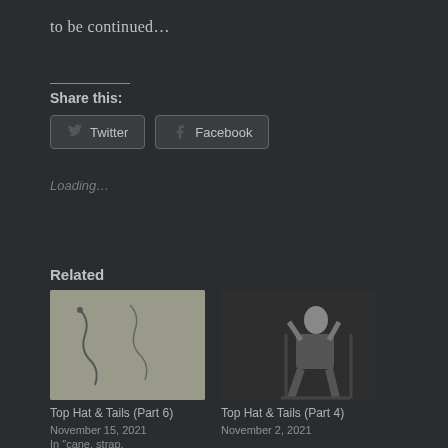to be continued…
Share this:
Twitter  Facebook
Loading…
Related
[Figure (photo): Black and white photo of a whip or cane lying on a grey surface]
Top Hat & Tails (Part 6)
November 15, 2021
In "cane, strap, spanking"
[Figure (photo): Black and white photo of a woman in dark clothing seated on a chair, hands behind head]
Top Hat & Tails (Part 4)
November 2, 2021